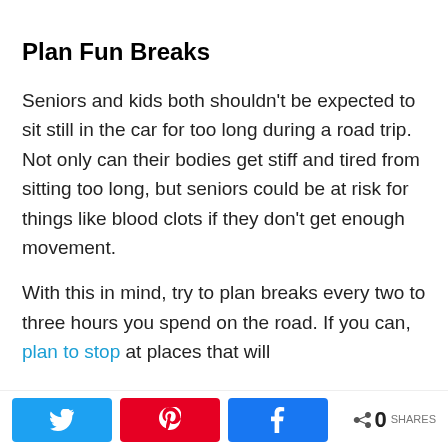Plan Fun Breaks
Seniors and kids both shouldn't be expected to sit still in the car for too long during a road trip. Not only can their bodies get stiff and tired from sitting too long, but seniors could be at risk for things like blood clots if they don't get enough movement.
With this in mind, try to plan breaks every two to three hours you spend on the road. If you can, plan to stop at places that will
0 SHARES (Twitter, Pinterest, Facebook share buttons)